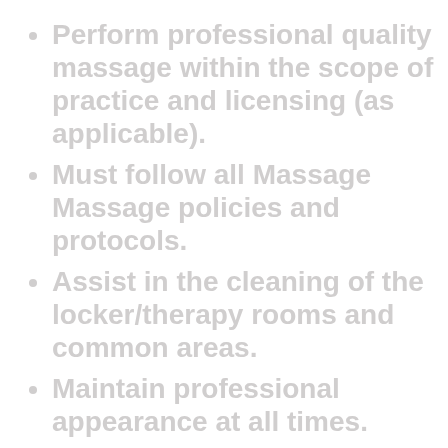Perform professional quality massage within the scope of practice and licensing (as applicable).
Must follow all Massage Massage policies and protocols.
Assist in the cleaning of the locker/therapy rooms and common areas.
Maintain professional appearance at all times.
Inform on the massage concerns to meet the individual's personal needs.
Assist in the promotion and the activities available to current and